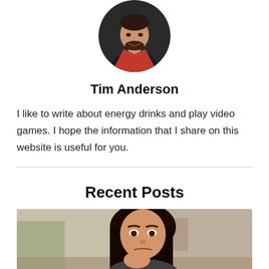[Figure (photo): Circular profile photo of Tim Anderson, a man with facial hair, smiling, wearing a dark jacket]
Tim Anderson
I like to write about energy drinks and play video games. I hope the information that I share on this website is useful for you.
Recent Posts
[Figure (photo): Photo of a woman with long dark hair looking concerned or frustrated, seated indoors with a blurred background]